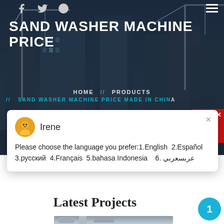[Figure (screenshot): Website screenshot of a sand washer machine price page with dark blue construction/crane background, navigation breadcrumb, chat widget, and Latest Projects section]
SAND WASHER MACHINE PRICE
HOME // PRODUCTS // SAND WASHER MACHINE PRICE MADE IN CHINA
Irene
Please choose the language you prefer:1.English  2.Español  3.русский  4.Français  5.bahasa Indonesia   6. عربسعربي
Latest Projects